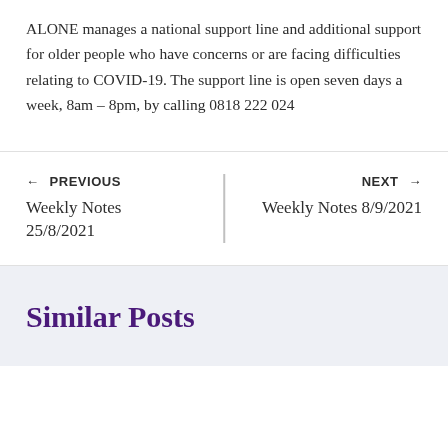ALONE manages a national support line and additional support for older people who have concerns or are facing difficulties relating to COVID-19. The support line is open seven days a week, 8am – 8pm, by calling 0818 222 024
← PREVIOUS
Weekly Notes 25/8/2021
NEXT →
Weekly Notes 8/9/2021
Similar Posts